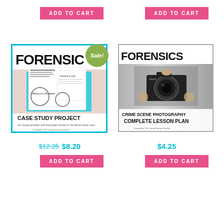[Figure (other): ADD TO CART button top left, pink background with white bold text]
[Figure (other): ADD TO CART button top right, pink background with white bold text]
[Figure (illustration): Forensics Case Study Project book cover with cyan border and Sale! badge. Shows clipboard with worksheets and text: FORENSICS CASE STUDY PROJECT, 10 no-prep activities and final project based on the Steven Avery case. Created by: The Trendy Science Teacher]
[Figure (illustration): Forensics Crime Scene Photography Complete Lesson Plan book cover showing a person holding a Canon camera. Created by: The Trendy Science Teacher]
$12.25 $8.20
$4.25
[Figure (other): ADD TO CART button bottom left, pink background with white bold text]
[Figure (other): ADD TO CART button bottom right, pink background with white bold text]